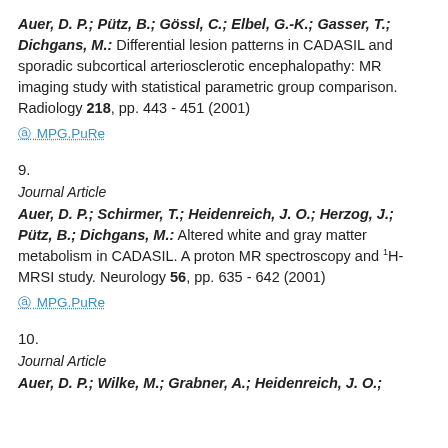Auer, D. P.; Pütz, B.; Gössl, C.; Elbel, G.-K.; Gasser, T.; Dichgans, M.: Differential lesion patterns in CADASIL and sporadic subcortical arteriosclerotic encephalopathy: MR imaging study with statistical parametric group comparison. Radiology 218, pp. 443 - 451 (2001)
MPG.PuRe
9.
Journal Article
Auer, D. P.; Schirmer, T.; Heidenreich, J. O.; Herzog, J.; Pütz, B.; Dichgans, M.: Altered white and gray matter metabolism in CADASIL. A proton MR spectroscopy and 1H-MRSI study. Neurology 56, pp. 635 - 642 (2001)
MPG.PuRe
10.
Journal Article
Auer, D. P.; Wilke, M.; Grabner, A.; Heidenreich, J. O.;